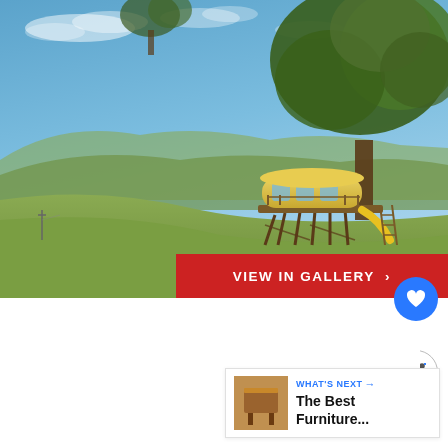[Figure (photo): A modern treehouse with curved wooden structure and a yellow slide, built high in a large tree on a hillside, with expansive countryside and blue sky in the background.]
VIEW IN GALLERY ›
5
WHAT'S NEXT → The Best Furniture...